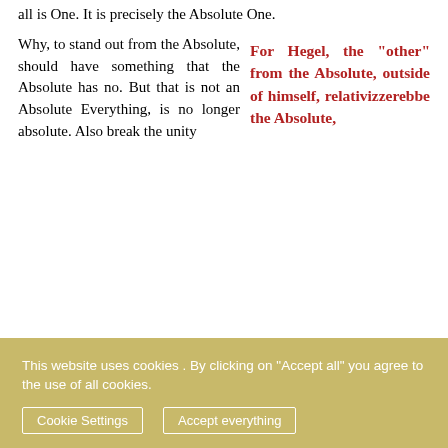all is One. It is precisely the Absolute One.
For Hegel, the "other" from the Absolute, outside of himself, relativizzerebbe the Absolute, Why, to stand out from the Absolute, should have something that the Absolute has no. But that is not an Absolute Everything, is no longer absolute. Also break the unity
This website uses cookies . By clicking on "Accept all" you agree to the use of all cookies.
Cookie Settings
Accept everything